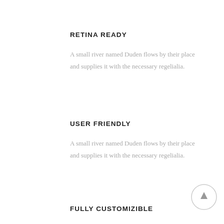RETINA READY
A small river named Duden flows by their place and supplies it with the necessary regelialia.
USER FRIENDLY
A small river named Duden flows by their place and supplies it with the necessary regelialia.
[Figure (illustration): Circular back-to-top button with an upward arrow icon]
FULLY CUSTOMIZIBLE
A small river named Duden flows by